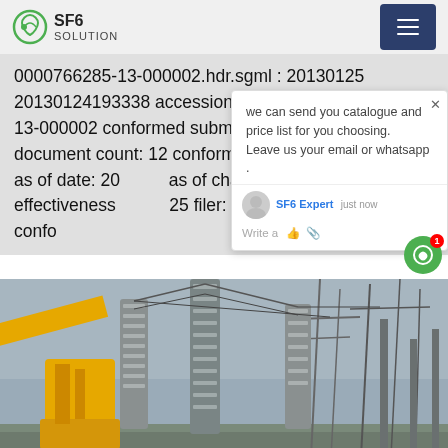SF6 SOLUTION
0000766285-13-000002.hdr.sgml : 20130125 20130124193338 accession number: 0000766285-13-000002 conformed submission type: n-csrs public document count: 12 conformed period of report: 20121130 filed as of date: 20130125 date of change: 20130124 effectiveness filer: company data: company confo
[Figure (photo): Electrical substation with SF6 equipment, high-voltage insulators, transmission towers, and yellow crane in overcast conditions]